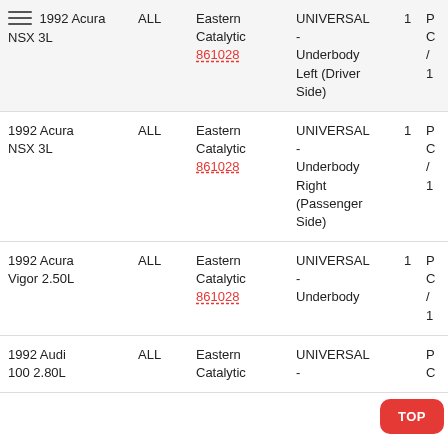| Vehicle | Engine | Brand / Part # | Position | Qty | Price |
| --- | --- | --- | --- | --- | --- |
| 1992 Acura NSX 3L | ALL | Eastern Catalytic 861028 | UNIVERSAL - Underbody Left (Driver Side) | 1 | P C / 1 |
| 1992 Acura NSX 3L | ALL | Eastern Catalytic 861028 | UNIVERSAL - Underbody Right (Passenger Side) | 1 | P C / 1 |
| 1992 Acura Vigor 2.50L | ALL | Eastern Catalytic 861028 | UNIVERSAL - Underbody | 1 | P C / 1 |
| 1992 Audi 100 2.80L | ALL | Eastern Catalytic | UNIVERSAL - |  | P C |